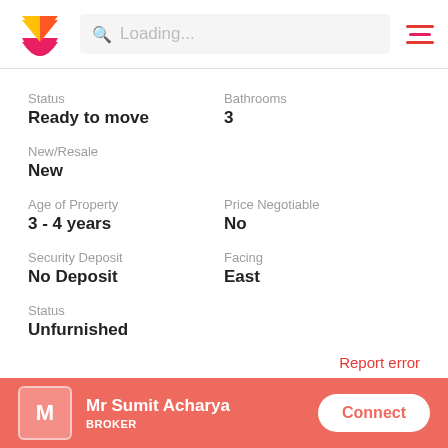Loading...
Status
Ready to move
Bathrooms
3
New/Resale
New
Age of Property
3 - 4 years
Price Negotiable
No
Security Deposit
No Deposit
Facing
East
Status
Unfurnished
Report error
Mr Sumit Acharya
(AGENT)
Mr Sumit Acharya
BROKER
Connect